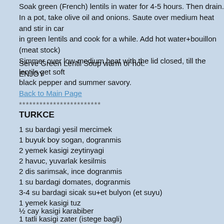Soak green (French) lentils in water for 4-5 hours. Then drain. In a pot, take olive oil and onions. Saute over medium heat and stir in car in green lentils and cook for a while. Add hot water+bouillon (meat stock) Simmer over low-medium heat with the lid closed, till the lentils get soft black pepper and summer savory.
Serve Green Lentil Soup warm or hot.
ENJOY
Back to Main Page
************************
TURKCE
1 su bardagi yesil mercimek
1 buyuk boy sogan, dogranmis
2 yemek kasigi zeytinyagi
2 havuc, yuvarlak kesilmis
2 dis sarimsak, ince dogranmis
1 su bardagi domates, dogranmis
3-4 su bardagi sicak su+et bulyon (et suyu)
1 yemek kasigi tuz
½ cay kasigi karabiber
1 tatli kasigi zater (istege bagli)
Mercimegi onceden su icinde yaklasik 4-5 saat bekletin. Sonra suyunu suz Bir tencere sogan ve zeytinyagini alin, orta ateste sote edin. Havuc ve